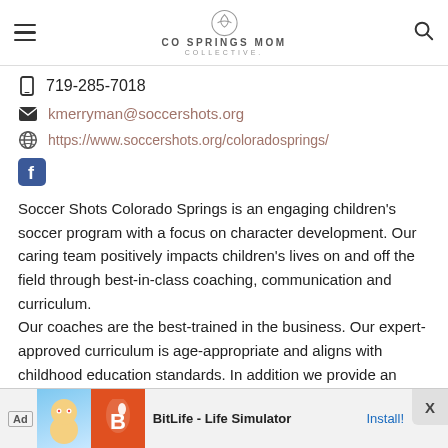CO SPRINGS MOM COLLECTIVE
719-285-7018
kmerryman@soccershots.org
https://www.soccershots.org/coloradosprings/
Soccer Shots Colorado Springs is an engaging children's soccer program with a focus on character development. Our caring team positively impacts children's lives on and off the field through best-in-class coaching, communication and curriculum.
Our coaches are the best-trained in the business. Our expert-approved curriculum is age-appropriate and aligns with childhood education standards. In addition we provide an exceptional customer experience and ongoing communication with parents.
[Figure (screenshot): Advertisement banner for BitLife - Life Simulator app with orange and blue graphics and Install button]